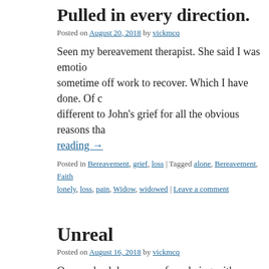Pulled in every direction.
Posted on August 20, 2018 by vickmcq
Seen my bereavement therapist. She said I was emotio… sometime off work to recover. Which I have done. Of c… different to John's grief for all the obvious reasons tha… reading →
Posted in Bereavement, grief, loss | Tagged alone, Bereavement, Faith… lonely, loss, pain, Widow, widowed | Leave a comment
Unreal
Posted on August 16, 2018 by vickmcq
On way back home now from being with my family and… yesterday, have pulled over into the services as I was c… This blog post may be a complete mess however … Con…
Posted in Bereavement, grief, Life, loss | Tagged Bereavement, grief, h… | Leave a comment